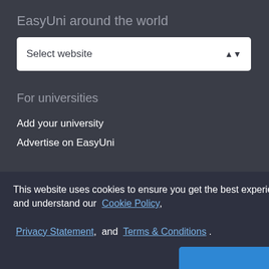EasyUni around the world
[Figure (screenshot): Dropdown select box with label 'Select website' and up/down arrow icon]
For universities
Add your university
Advertise on EasyUni
This website uses cookies to ensure you get the best experience. By using this site, you acknowledge that you have read and understand our Cookie Policy, Privacy Statement, and Terms & Conditions .
OK